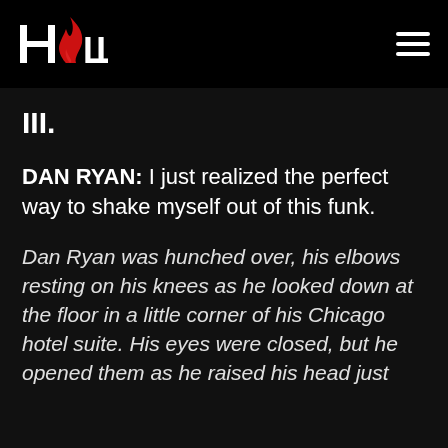HCW [logo with flame]
III.
DAN RYAN: I just realized the perfect way to shake myself out of this funk.
Dan Ryan was hunched over, his elbows resting on his knees as he looked down at the floor in a little corner of his Chicago hotel suite. His eyes were closed, but he opened them as he raised his head just